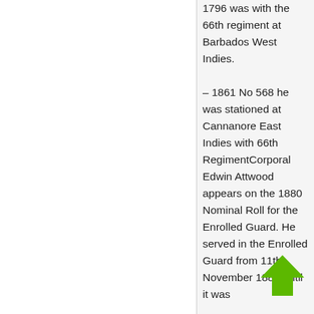1796 was with the 66th regiment at Barbados West Indies.
– 1861 No 568 he was stationed at Cannanore East Indies with 66th RegimentCorporal Edwin Attwood appears on the 1880 Nominal Roll for the Enrolled Guard. He served in the Enrolled Guard from 11th November 1880 until it was
[Figure (illustration): Green upward-pointing arrow icon]